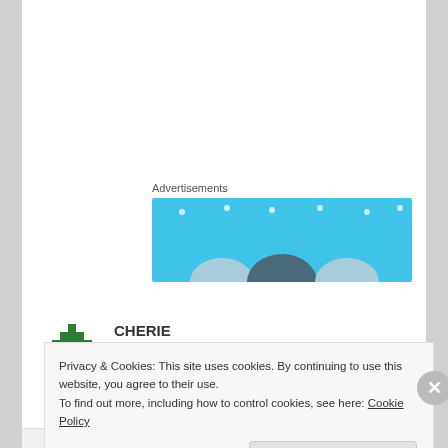[Figure (screenshot): Advertisement banner with light blue background, white dot sparkles, and three semicircle shapes at bottom representing faces/people]
Advertisements
CHERIE
May 3, 2014 at 12:52 am
Oh no! I am so sorry to hear about your tumor and the stress it is causing you. I hope you are able to continue
Privacy & Cookies: This site uses cookies. By continuing to use this website, you agree to their use.
To find out more, including how to control cookies, see here: Cookie Policy
Close and accept